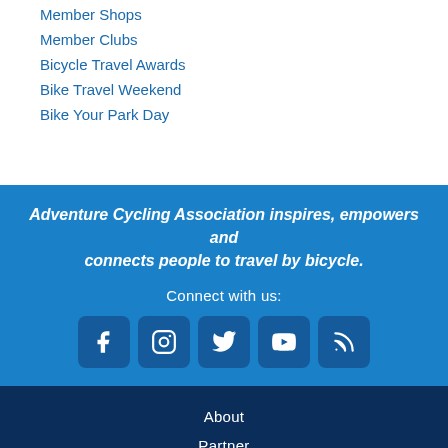Member Shops
Member Clubs
Bicycle Travel Awards
Bike Travel Weekend
Bike Your Park Day
Adventure Cycling Association inspires, empowers and connects people to travel by bicycle.
Connect with us:
[Figure (infographic): Social media icons: Facebook, Instagram, Twitter, YouTube, RSS feed]
About
Partner